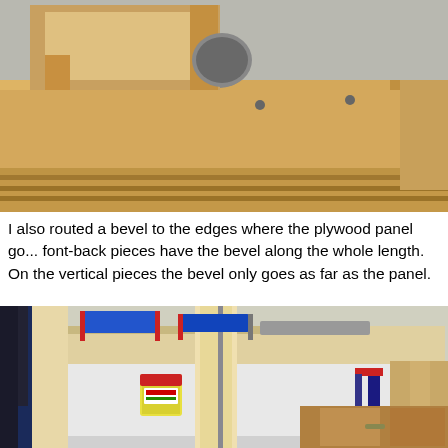[Figure (photo): Close-up photo of a plywood panel and wooden frame structure viewed from above on a workbench, showing beveled edges and a circular hole cut in the wood.]
I also routed a bevel to the edges where the plywood panel go... font-back pieces have the bevel along the whole length. On the vertical pieces the bevel only goes as far as the panel.
[Figure (photo): Photo of a person assembling a wooden frame structure on a workbench, with multiple clamps (blue and red) holding pieces together. A container of glue is visible on the white panel inside the frame.]